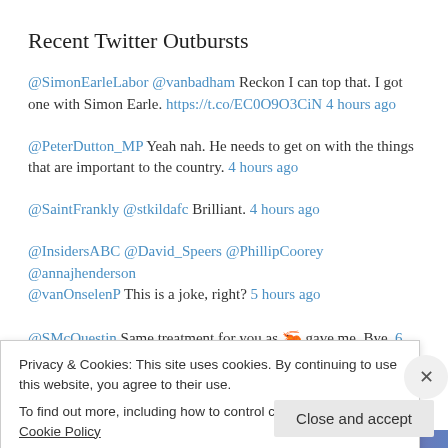Recent Twitter Outbursts
@SimonEarleLabor @vanbadham Reckon I can top that. I got one with Simon Earle. https://t.co/EC0O9O3CiN 4 hours ago
@PeterDutton_MP Yeah nah. He needs to get on with the things that are important to the country. 4 hours ago
@SaintFrankly @stkildafc Brilliant. 4 hours ago
@InsidersABC @David_Speers @PhillipCoorey @annajhenderson @vanOnselenP This is a joke, right? 5 hours ago
@SMcQuestin Same treatment for you as 🦐 gave me. Bye. 6 hours ago
Privacy & Cookies: This site uses cookies. By continuing to use this website, you agree to their use. To find out more, including how to control cookies, see here: Cookie Policy
Close and accept